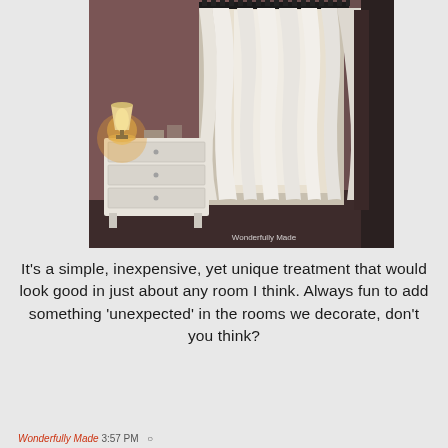[Figure (photo): Interior bedroom photo showing white curtains hanging from a black curtain rod near a bright window, with a white dresser and glowing table lamp in the lower left corner. Watermark reads 'Wonderfully Made' in the lower right.]
It's a simple, inexpensive, yet unique treatment that would look good in just about any room I think. Always fun to add something 'unexpected' in the rooms we decorate, don't you think?
Wonderfully Made 3:57 PM 0